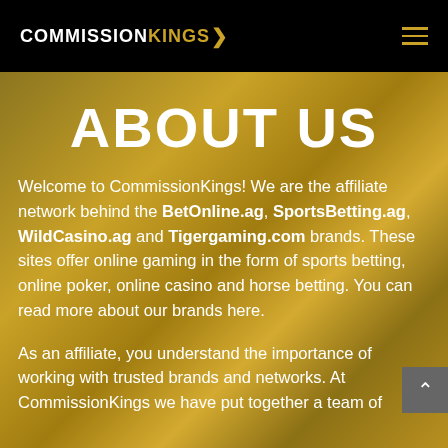COMMISSIONKINGS
ABOUT US
Welcome to CommissionKings! We are the affiliate network behind the BetOnline.ag, SportsBetting.ag, WildCasino.ag and Tigergaming.com brands. These sites offer online gaming in the form of sports betting, online poker, online casino and horse betting. You can read more about our brands here.
As an affiliate, you understand the importance of working with trusted brands and networks. At CommissionKings we have put together a team of